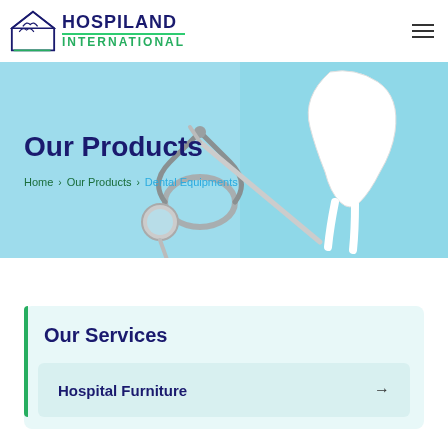HOSPILAND INTERNATIONAL
[Figure (screenshot): Hero banner with dental tools, stethoscope, and tooth model on blue background]
Our Products
Home > Our Products > Dental Equipments
Our Services
Hospital Furniture →